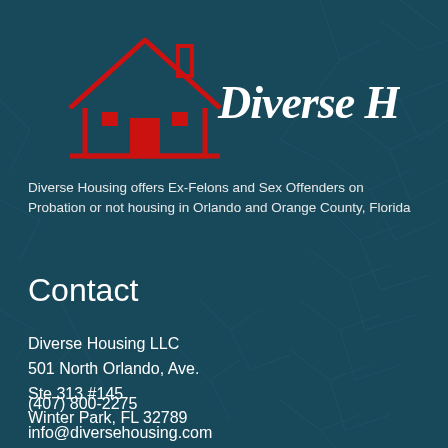[Figure (logo): Diverse Housing logo with red house outline and door/windows icon, white cursive text 'Diverse Housing' on dark teal frosted background]
Diverse Housing offers Ex-Felons and Sex Offenders on Probation or not housing in Orlando and Orange County, Florida
Contact
Diverse Housing LLC
501 North Orlando, Ave.
Ste 313 #145
Winter Park, FL 32789
(407) 800-2275
info@diversehousing.com